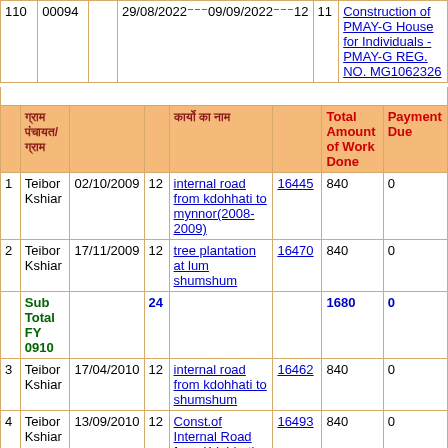| # | Location | Date | Workers | Work Description | Muster No. | Total Amount of Work Done | Payment Due |
| --- | --- | --- | --- | --- | --- | --- | --- |
| 110 | 00094 |  | 29/08/2022 - 09/09/2022 - 12 | 11 | Construction of PMAY-G House for Individuals -PMAY-G REG. NO. MG1062326 |  |  |
| header | हिंदी |  | कार्य का नाम |  |  | Total Amount of Work Done | Payment Due |
| 1 | Teibor Kshiar | 02/10/2009 | 12 | internal road from kdohhati to mynnor(2008-2009) | 16445 | 840 | 0 |
| 2 | Teibor Kshiar | 17/11/2009 | 12 | tree plantation at lum shumshum | 16470 | 840 | 0 |
| Sub Total FY 0910 |  |  | 24 |  |  | 1680 | 0 |
| 3 | Teibor Kshiar | 17/04/2010 | 12 | internal road from kdohhati to shumshum | 16462 | 840 | 0 |
| 4 | Teibor Kshiar | 13/09/2010 | 12 | Const.of Internal Road from Kdohhati to Khrum Lure | 16493 | 840 | 0 |